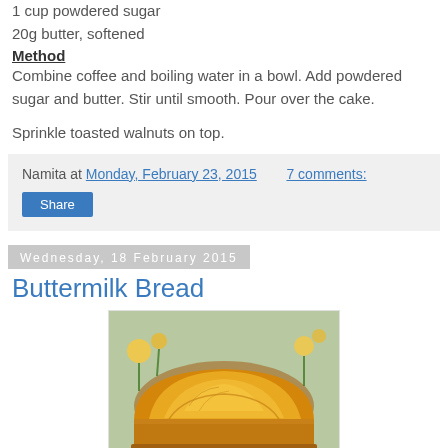1 cup powdered sugar
20g butter, softened
Method
Combine coffee and boiling water in a bowl. Add powdered sugar and butter. Stir until smooth. Pour over the cake.
Sprinkle toasted walnuts on top.
Namita at Monday, February 23, 2015   7 comments:
Share
Wednesday, 18 February 2015
Buttermilk Bread
[Figure (photo): A golden-brown loaf of buttermilk bread in a baking tin, with flowers visible in the background]